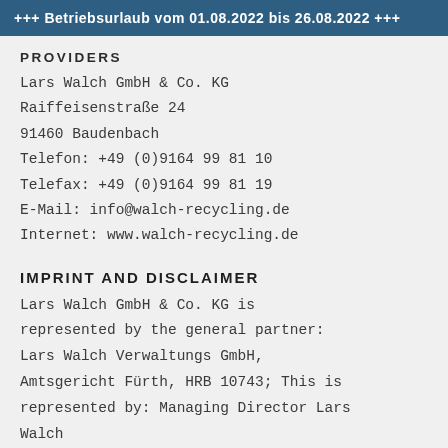+++ Betriebsurlaub vom 01.08.2022 bis 26.08.2022 +++
PROVIDERS
Lars Walch GmbH & Co. KG
Raiffeisenstraße 24
91460 Baudenbach
Telefon: +49 (0)9164 99 81 10
Telefax: +49 (0)9164 99 81 19
E-Mail: info@walch-recycling.de
Internet: www.walch-recycling.de
IMPRINT AND DISCLAIMER
Lars Walch GmbH & Co. KG is represented by the general partner: Lars Walch Verwaltungs GmbH, Amtsgericht Fürth, HRB 10743; This is represented by: Managing Director Lars Walch